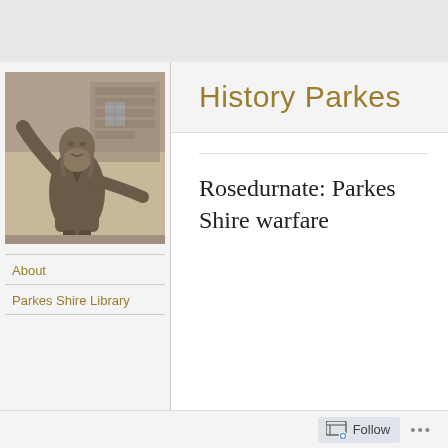[Figure (photo): Black and white photo of a bearded man statue with arms raised, with a brick building in background]
History Parkes
About
Parkes Shire Library
Rosedurnate: Parkes Shire warfare